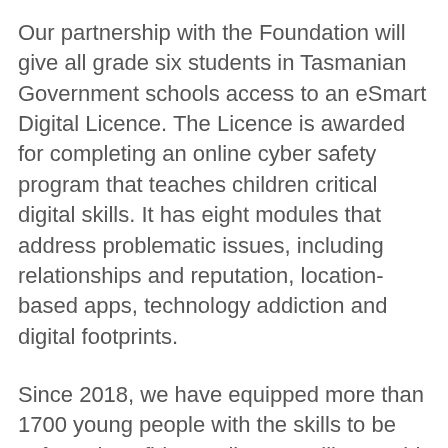Our partnership with the Foundation will give all grade six students in Tasmanian Government schools access to an eSmart Digital Licence. The Licence is awarded for completing an online cyber safety program that teaches children critical digital skills. It has eight modules that address problematic issues, including relationships and reputation, location-based apps, technology addiction and digital footprints.
Since 2018, we have equipped more than 1700 young people with the skills to be safe and confident online. Just like an old-fashioned pen licence, the Digital Licence is awarded to students for completing an online cyber safety program that teaches critical digital skills. The eight